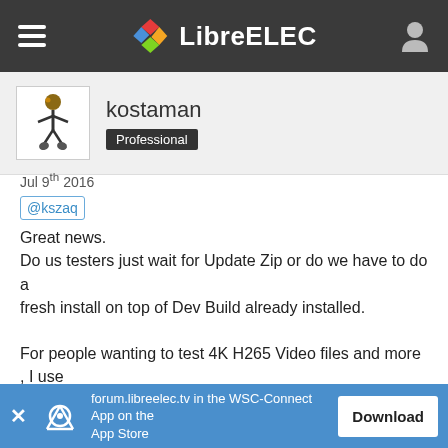LibreELEC
kostaman
Professional
Jul 9th 2016
@kszaq
Great news.
Do us testers just wait for Update Zip or do we have to do a fresh install on top of Dev Build already installed.

For people wanting to test 4K H265 Video files and more , I use an addon called Video Test Files which is in Mafarricos Repo. Link: Google URL Shortener

So far everything works from test videos i have tried. They all
forum.libreelec.tv in the WSC-Connect App on the App Store
Download